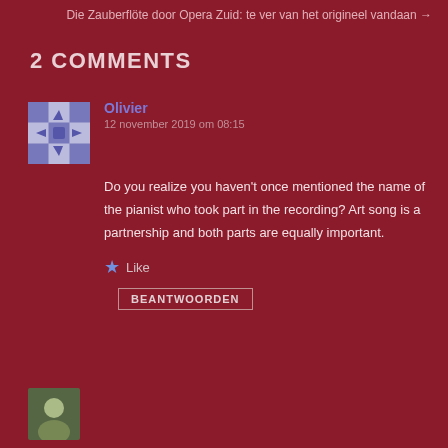Die Zauberflöte door Opera Zuid: te ver van het origineel vandaan →
2 COMMENTS
Olivier
12 november 2019 om 08:15
Do you realize you haven't once mentioned the name of the pianist who took part in the recording? Art song is a partnership and both parts are equally important.
Like
BEANTWOORDEN